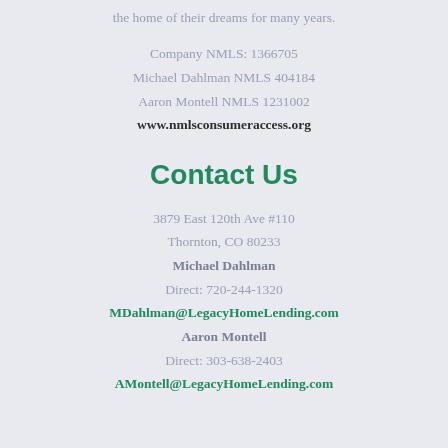the home of their dreams for many years.
Company NMLS: 1366705
Michael Dahlman NMLS 404184
Aaron Montell NMLS 1231002
www.nmlsconsumeraccess.org
Contact Us
3879 East 120th Ave #110
Thornton, CO 80233
Michael Dahlman
Direct: 720-244-1320
MDahlman@LegacyHomeLending.com
Aaron Montell
Direct: 303-638-2403
AMontell@LegacyHomeLending.com